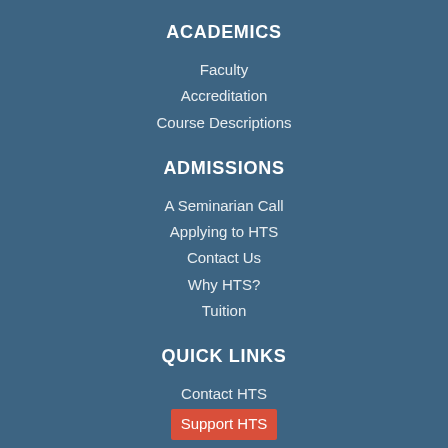ACADEMICS
Faculty
Accreditation
Course Descriptions
ADMISSIONS
A Seminarian Call
Applying to HTS
Contact Us
Why HTS?
Tuition
QUICK LINKS
Contact HTS
Support HTS